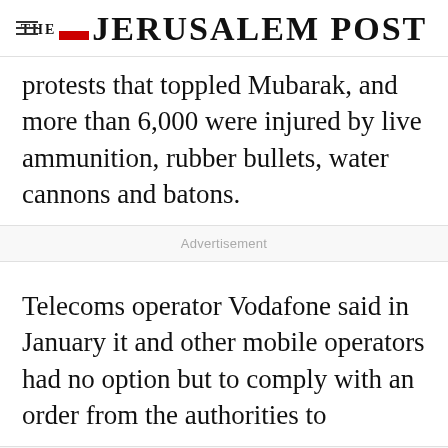THE JERUSALEM POST
protests that toppled Mubarak, and more than 6,000 were injured by live ammunition, rubber bullets, water cannons and batons.
Advertisement
Telecoms operator Vodafone said in January it and other mobile operators had no option but to comply with an order from the authorities to
Advertisement